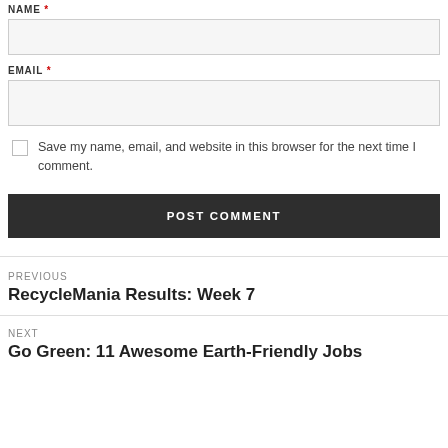NAME *
EMAIL *
Save my name, email, and website in this browser for the next time I comment.
POST COMMENT
PREVIOUS
RecycleMania Results: Week 7
NEXT
Go Green: 11 Awesome Earth-Friendly Jobs